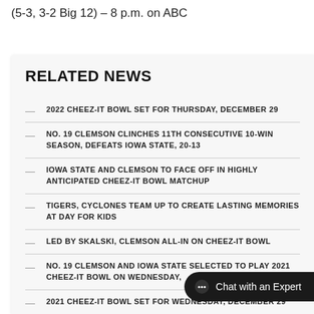(5-3, 3-2 Big 12) – 8 p.m. on ABC
RELATED NEWS
2022 CHEEZ-IT BOWL SET FOR THURSDAY, DECEMBER 29
NO. 19 CLEMSON CLINCHES 11TH CONSECUTIVE 10-WIN SEASON, DEFEATS IOWA STATE, 20-13
IOWA STATE AND CLEMSON TO FACE OFF IN HIGHLY ANTICIPATED CHEEZ-IT BOWL MATCHUP
TIGERS, CYCLONES TEAM UP TO CREATE LASTING MEMORIES AT DAY FOR KIDS
LED BY SKALSKI, CLEMSON ALL-IN ON CHEEZ-IT BOWL
NO. 19 CLEMSON AND IOWA STATE SELECTED TO PLAY 2021 CHEEZ-IT BOWL ON WEDNESDAY,
2021 CHEEZ-IT BOWL SET FOR WEDNESDAY, DECEMBER 29